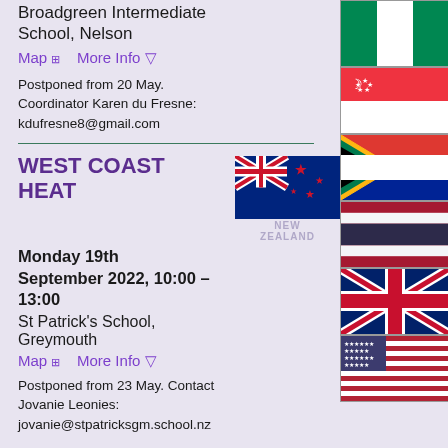Broadgreen Intermediate School, Nelson
Map  More Info
Postponed from 20 May. Coordinator Karen du Fresne: kdufresne8@gmail.com
WEST COAST HEAT
Monday 19th September 2022, 10:00 – 13:00
St Patrick's School, Greymouth
Map  More Info
Postponed from 23 May. Contact Jovanie Leonies: jovanie@stpatricksgm.school.nz
[Figure (illustration): New Zealand flag with Union Jack and Southern Cross stars on blue background]
[Figure (illustration): Nigeria flag - green, white, green vertical stripes]
[Figure (illustration): Singapore flag - red and white halves with crescent and stars]
[Figure (illustration): South Africa flag]
[Figure (illustration): Thailand flag - red, white, blue, white, red horizontal stripes]
[Figure (illustration): United Kingdom flag - Union Jack]
[Figure (illustration): United States flag - stars and stripes]